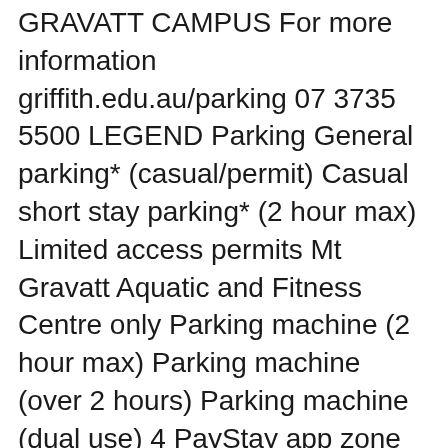GRAVATT CAMPUS For more information griffith.edu.au/parking 07 3735 5500 LEGEND Parking General parking* (casual/permit) Casual short stay parking* (2 hour max) Limited access permits Mt Gravatt Aquatic and Fitness Centre only Parking machine (2 hour max) Parking machine (over 2 hours) Parking machine (dual use) 4 PayStay app zone number
TransLink is your one stop for public transport information, and coordinates and integrates public transport services in South East Queensland. This is not just a map. It's a piece of the world captured in the image. The detailed terrain map represents one of many